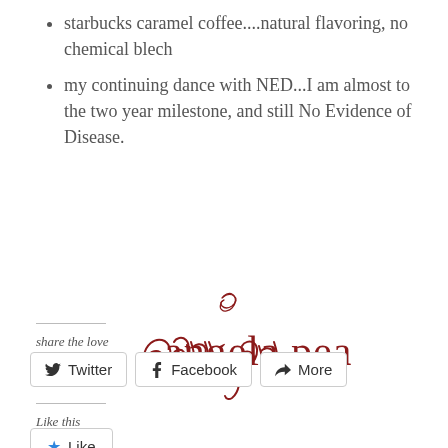starbucks caramel coffee....natural flavoring, no chemical blech
my continuing dance with NED...I am almost to the two year milestone, and still No Evidence of Disease.
[Figure (illustration): Handwritten cursive signature in dark red/maroon color reading 'angela pea']
share the love
Twitter | Facebook | More
Like this
Like